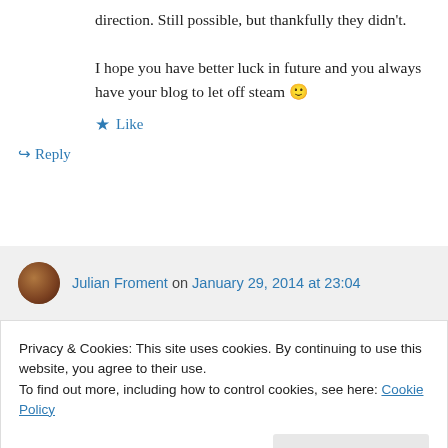direction. Still possible, but thankfully they didn't.
I hope you have better luck in future and you always have your blog to let off steam 🙂
★ Like
↪ Reply
Julian Froment on January 29, 2014 at 23:04
Absolutely. A blog is a great way to have a
Privacy & Cookies: This site uses cookies. By continuing to use this website, you agree to their use. To find out more, including how to control cookies, see here: Cookie Policy
Close and accept